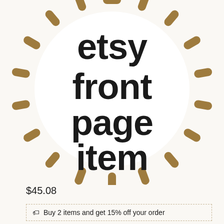[Figure (illustration): A circular badge with large bold black text reading 'etsy front page item' surrounded by a dashed circle made of brown/tan rounded dash marks on a cream background]
$45.08
Buy 2 items and get 15% off your order